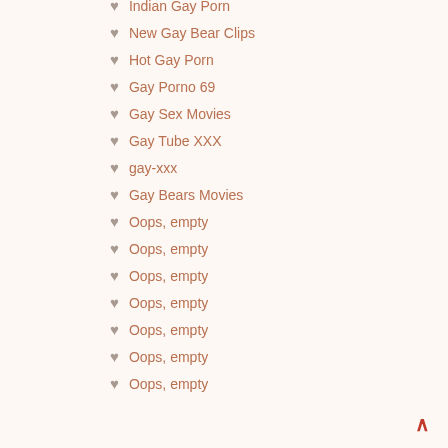Indian Gay Porn
New Gay Bear Clips
Hot Gay Porn
Gay Porno 69
Gay Sex Movies
Gay Tube XXX
gay-xxx
Gay Bears Movies
Oops, empty
Oops, empty
Oops, empty
Oops, empty
Oops, empty
Oops, empty
Oops, empty